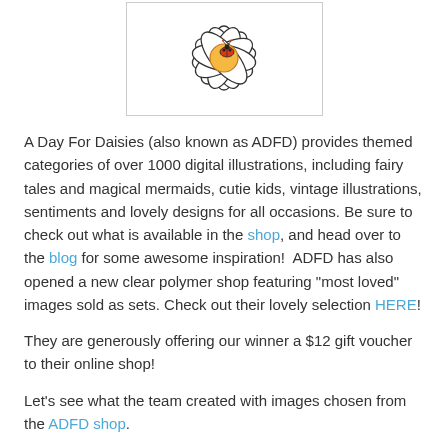[Figure (illustration): Line drawing of a daisy flower with a ladybug in the center, white petals on a white background with a light border]
A Day For Daisies (also known as ADFD) provides themed categories of over 1000 digital illustrations, including fairy tales and magical mermaids, cutie kids, vintage illustrations, sentiments and lovely designs for all occasions. Be sure to check out what is available in the shop, and head over to the blog for some awesome inspiration! ADFD has also opened a new clear polymer shop featuring "most loved" images sold as sets. Check out their lovely selection HERE!
They are generously offering our winner a $12 gift voucher to their online shop!
Let's see what the team created with images chosen from the ADFD shop.
DEBBIE
Using "Hope"
[Figure (photo): A craft card image on a reddish-brown background, partially visible at the bottom of the page]